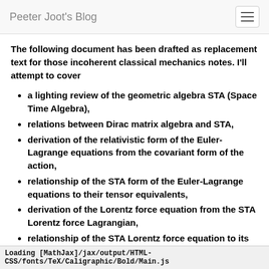Peeter Joot's Blog
The following document has been drafted as replacement text for those incoherent classical mechanics notes. I'll attempt to cover
a lighting review of the geometric algebra STA (Space Time Algebra),
relations between Dirac matrix algebra and STA,
derivation of the relativistic form of the Euler-Lagrange equations from the covariant form of the action,
relationship of the STA form of the Euler-Lagrange equations to their tensor equivalents,
derivation of the Lorentz force equation from the STA Lorentz force Lagrangian,
relationship of the STA Lorentz force equation to its equivalent in the tensor formalism,
Loading [MathJax]/jax/output/HTML-CSS/fonts/TeX/Caligraphic/Bold/Main.js